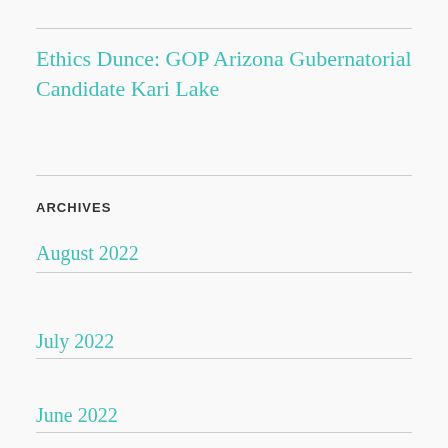Ethics Dunce: GOP Arizona Gubernatorial Candidate Kari Lake
ARCHIVES
August 2022
July 2022
June 2022